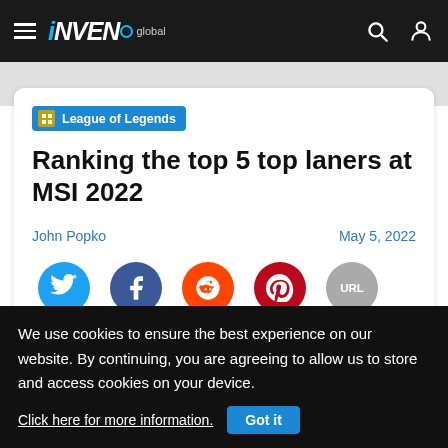INVEN Global
League of Legends
Ranking the top 5 top laners at MSI 2022
John Popko   May 5, 2022
[Figure (infographic): Social share buttons: Twitter, Facebook, Reddit, Pinterest, URL]
We use cookies to ensure the best experience on our website. By continuing, you are agreeing to allow us to store and access cookies on your device.
Click here for more information.   Got it